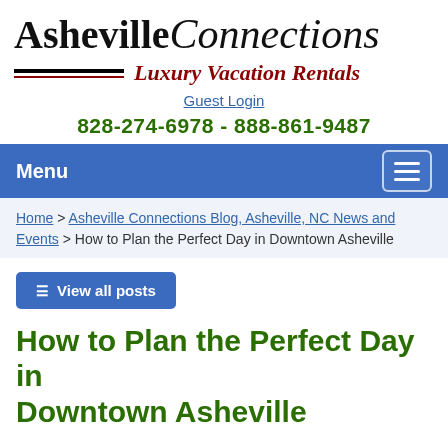Asheville Connections Luxury Vacation Rentals
Guest Login
828-274-6978 - 888-861-9487
Menu
Home > Asheville Connections Blog, Asheville, NC News and Events > How to Plan the Perfect Day in Downtown Asheville
View all posts
How to Plan the Perfect Day in Downtown Asheville